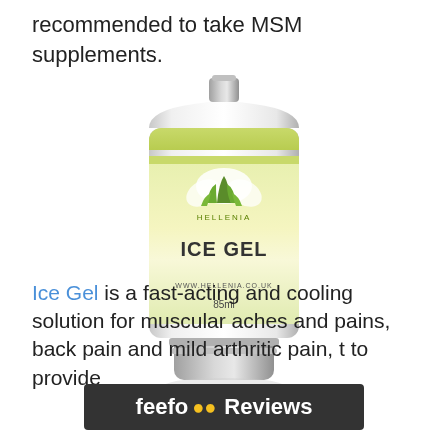recommended to take MSM supplements.
[Figure (photo): Hellenia Ice Gel product tube, 85ml, white and green packaging with plant logo, www.hellenia.co.uk]
Ice Gel is a fast-acting and cooling solution for muscular aches and pains, back pain and mild arthritic pain, t... to provide
[Figure (logo): Feefo Reviews dark overlay bar with orange dot eyes logo]